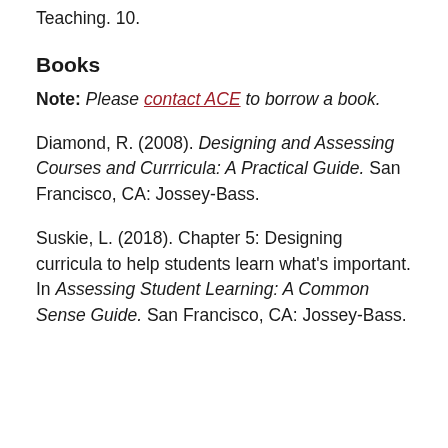Teaching. 10.
Books
Note: Please contact ACE to borrow a book.
Diamond, R. (2008). Designing and Assessing Courses and Currricula: A Practical Guide. San Francisco, CA: Jossey-Bass.
Suskie, L. (2018). Chapter 5: Designing curricula to help students learn what's important. In Assessing Student Learning: A Common Sense Guide. San Francisco, CA: Jossey-Bass.